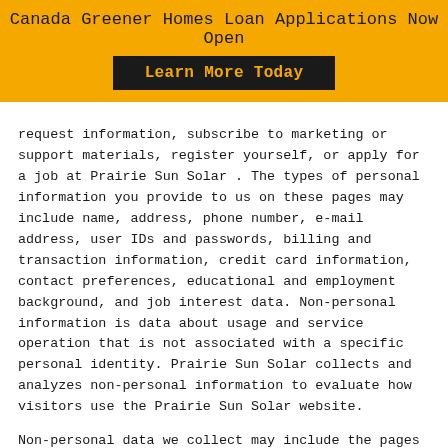Canada Greener Homes Loan Applications Now Open
Learn More Today
request information, subscribe to marketing or support materials, register yourself, or apply for a job at Prairie Sun Solar . The types of personal information you provide to us on these pages may include name, address, phone number, e-mail address, user IDs and passwords, billing and transaction information, credit card information, contact preferences, educational and employment background, and job interest data. Non-personal information is data about usage and service operation that is not associated with a specific personal identity. Prairie Sun Solar collects and analyzes non-personal information to evaluate how visitors use the Prairie Sun Solar website.
Non-personal data we collect may include the pages visited on the Prairie Sun Solar websites, unique URLs1 visited within our website, browser type and IP address. Most non-personal data is collected via cookies or other analysis technologies.
Childr...